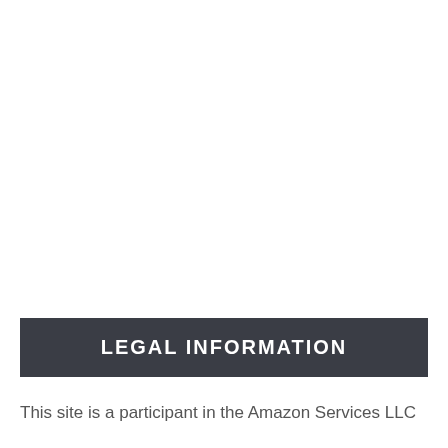LEGAL INFORMATION
This site is a participant in the Amazon Services LLC